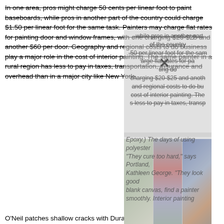In one area, pros might charge 50 cents per linear foot to paint baseboards, while pros in another part of the country could charge $1.50 per linear foot for the same task. Painters may charge flat rates for painting door and window frames, with one charging $20-$25 and another $60 per door. Geography and regional costs to do business play a major role in the cost of interior painting. The same painter in a rural region has less to pay in taxes, transportation, insurance and overhead than in a major city like New York. (strikethrough)
[Figure (photo): Three photos showing house painting scenes with ladders and painters]
O'Neil patches shallow cracks with Durabond patch because it dries fast, sands smooth, and won't crack and rotten spots are best repaired with an epoxy filler, like those made by Advanced Repair Technologies. (For more instructions, see Repairing Rot with Epoxy.) The days of using polyester auto-body fillers on wood are over. "They cure too hard," says Portland, Oregon–based painting contractor Kathleen George. "They look good at first, but then they peel away." Arvada Home Painting
If you want to upgrade your home's interior, or if you're starting with a blank canvas, find a painter nearby so the project can go smoothly. Interior painting contractors and companies work hard to turn your house into a home. Hire a professional painter to add a fresh coat of